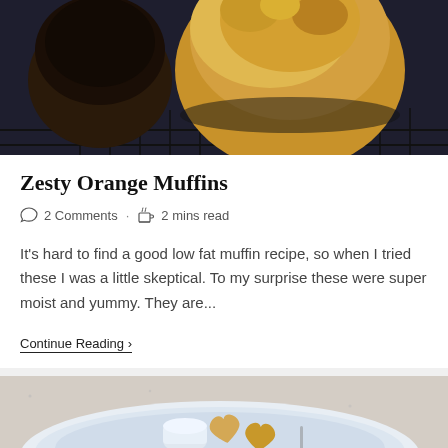[Figure (photo): Photo of orange muffins on a wire cooling rack, dark background]
Zesty Orange Muffins
2 Comments  ·  2 mins read
It's hard to find a good low fat muffin recipe, so when I tried these I was a little skeptical. To my surprise these were super moist and yummy. They are...
Continue Reading ›
[Figure (photo): Photo of heart-shaped cookies on a white plate with a small jar of cream or dip]